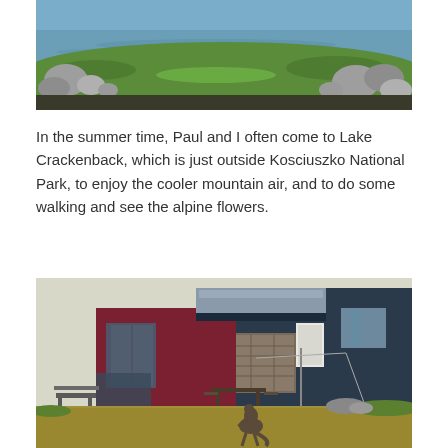[Figure (photo): Outdoor landscape photo showing a lake or pond with green grassy banks and large rocks/boulders along the water's edge.]
In the summer time, Paul and I often come to Lake Crackenback, which is just outside Kosciuszko National Park, to enjoy the cooler mountain air, and to do some walking and see the alpine flowers.
[Figure (photo): A kangaroo standing on a grassy area in front of modern resort-style buildings with dark cladding, a stone feature wall, outdoor tables and chairs, and a clothesline pole in the background.]